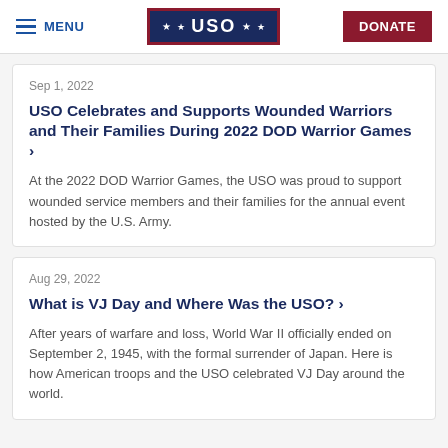MENU | USO | DONATE
Sep 1, 2022
USO Celebrates and Supports Wounded Warriors and Their Families During 2022 DOD Warrior Games ›
At the 2022 DOD Warrior Games, the USO was proud to support wounded service members and their families for the annual event hosted by the U.S. Army.
Aug 29, 2022
What is VJ Day and Where Was the USO? ›
After years of warfare and loss, World War II officially ended on September 2, 1945, with the formal surrender of Japan. Here is how American troops and the USO celebrated VJ Day around the world.